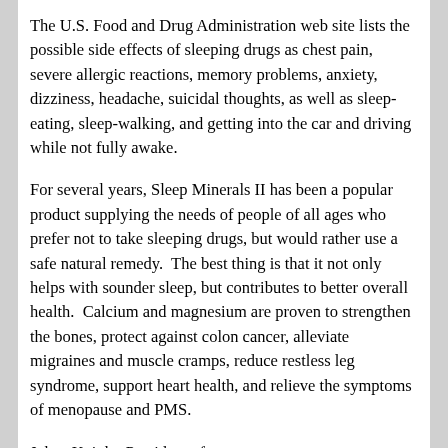The U.S. Food and Drug Administration web site lists the possible side effects of sleeping drugs as chest pain, severe allergic reactions, memory problems, anxiety, dizziness, headache, suicidal thoughts, as well as sleep-eating, sleep-walking, and getting into the car and driving while not fully awake.
For several years, Sleep Minerals II has been a popular product supplying the needs of people of all ages who prefer not to take sleeping drugs, but would rather use a safe natural remedy.  The best thing is that it not only helps with sounder sleep, but contributes to better overall health.  Calcium and magnesium are proven to strengthen the bones, protect against colon cancer, alleviate migraines and muscle cramps, reduce restless leg syndrome, support heart health, and relieve the symptoms of menopause and PMS.
Jobee Knight, President of http://www.NutritionBreakthroughs.com says: “Before I developed this product, I was suffering from insomnia and